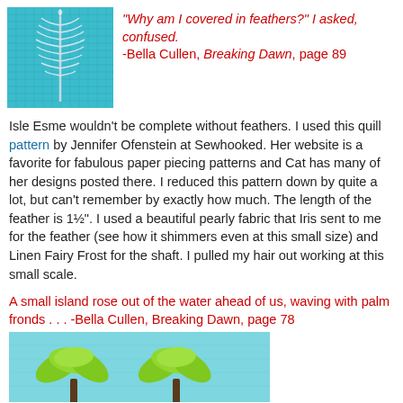[Figure (photo): Close-up photo of a feather quilt block in teal/aqua fabric with a white/silver pearly feather center on a burlap-like background.]
"Why am I covered in feathers?" I asked, confused.
-Bella Cullen, Breaking Dawn, page 89
Isle Esme wouldn't be complete without feathers. I used this quill pattern by Jennifer Ofenstein at Sewhooked. Her website is a favorite for fabulous paper piecing patterns and Cat has many of her designs posted there. I reduced this pattern down by quite a lot, but can't remember by exactly how much. The length of the feather is 1½". I used a beautiful pearly fabric that Iris sent to me for the feather (see how it shimmers even at this small size) and Linen Fairy Frost for the shaft. I pulled my hair out working at this small scale.
A small island rose out of the water ahead of us, waving with palm fronds . . . -Bella Cullen, Breaking Dawn, page 78
[Figure (photo): Photo of a quilt block showing two green palm trees with brown trunks against a light blue/aqua background.]